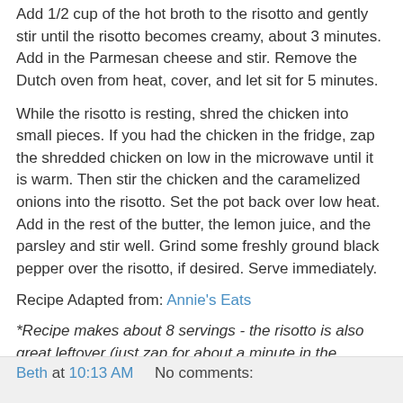Add 1/2 cup of the hot broth to the risotto and gently stir until the risotto becomes creamy, about 3 minutes. Add in the Parmesan cheese and stir. Remove the Dutch oven from heat, cover, and let sit for 5 minutes.
While the risotto is resting, shred the chicken into small pieces. If you had the chicken in the fridge, zap the shredded chicken on low in the microwave until it is warm. Then stir the chicken and the caramelized onions into the risotto. Set the pot back over low heat. Add in the rest of the butter, the lemon juice, and the parsley and stir well. Grind some freshly ground black pepper over the risotto, if desired. Serve immediately.
Recipe Adapted from: Annie's Eats
*Recipe makes about 8 servings - the risotto is also great leftover (just zap for about a minute in the microwave). Store in an airtight container in the fridge.
Beth at 10:13 AM    No comments: